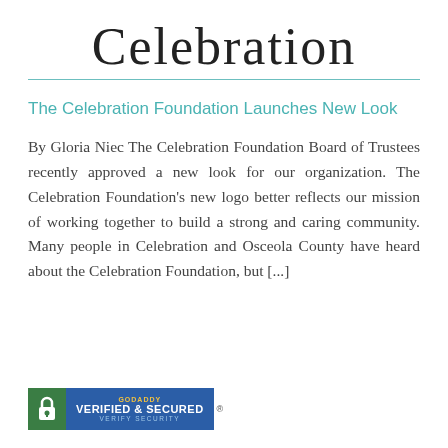Celebration
The Celebration Foundation Launches New Look
By Gloria Niec The Celebration Foundation Board of Trustees recently approved a new look for our organization. The Celebration Foundation's new logo better reflects our mission of working together to build a strong and caring community. Many people in Celebration and Osceola County have heard about the Celebration Foundation, but [...]
[Figure (logo): GoDaddy Verified & Secured badge with padlock icon]